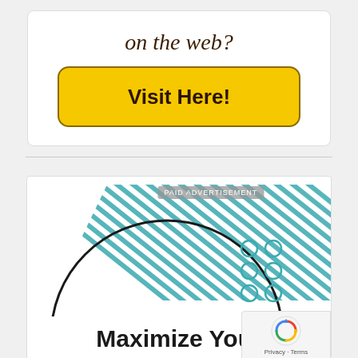[Figure (illustration): Advertisement banner with italic text 'on the web?' and a large yellow rounded button labeled 'Visit Here!']
[Figure (illustration): Paid advertisement banner with teal diagonal stripe graphic, decorative circle outline, dot grid pattern, and bold text 'Maximize Your' at the bottom. Includes a 'PAID ADVERTISEMENT' label and a reCAPTCHA / Privacy-Terms badge in the bottom right corner.]